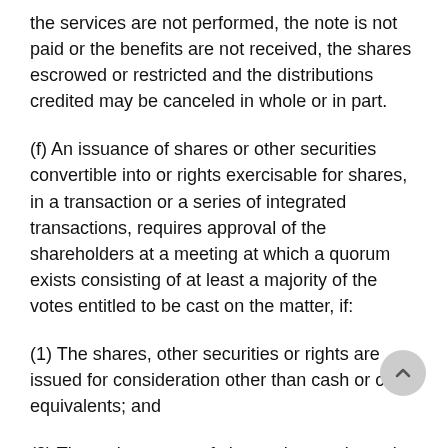the services are not performed, the note is not paid or the benefits are not received, the shares escrowed or restricted and the distributions credited may be canceled in whole or in part.
(f) An issuance of shares or other securities convertible into or rights exercisable for shares, in a transaction or a series of integrated transactions, requires approval of the shareholders at a meeting at which a quorum exists consisting of at least a majority of the votes entitled to be cast on the matter, if:
(1) The shares, other securities or rights are issued for consideration other than cash or cash equivalents; and
(2) The voting power of shares that are issued and